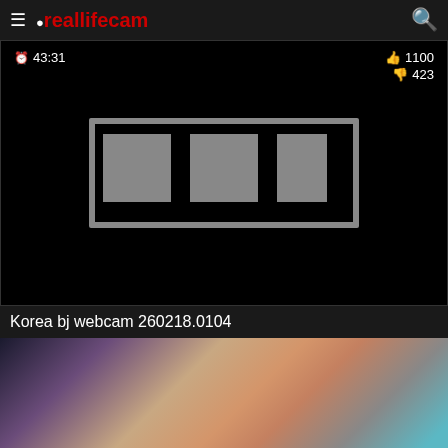≡ ⊙reallifecam 🔍
[Figure (screenshot): Video player showing black screen with censored/blurred content placeholder. Duration badge: 43:31. Like count: 1100. Dislike count: 423.]
Korea bj webcam 260218.0104
[Figure (photo): Thumbnail image partially visible at bottom of page.]